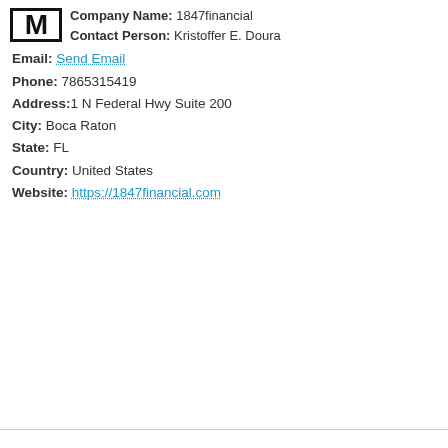Company Name: 1847financial
Contact Person: Kristoffer E. Doura
Email: Send Email
Phone: 7865315419
Address: 1 N Federal Hwy Suite 200
City: Boca Raton
State: FL
Country: United States
Website: https://1847financial.com